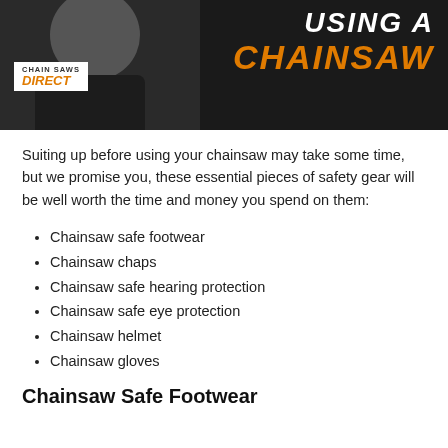[Figure (photo): Banner image showing a person in dark clothing alongside text 'USING A CHAINSAW' with Chain Saws Direct logo]
Suiting up before using your chainsaw may take some time, but we promise you, these essential pieces of safety gear will be well worth the time and money you spend on them:
Chainsaw safe footwear
Chainsaw chaps
Chainsaw safe hearing protection
Chainsaw safe eye protection
Chainsaw helmet
Chainsaw gloves
Chainsaw Safe Footwear